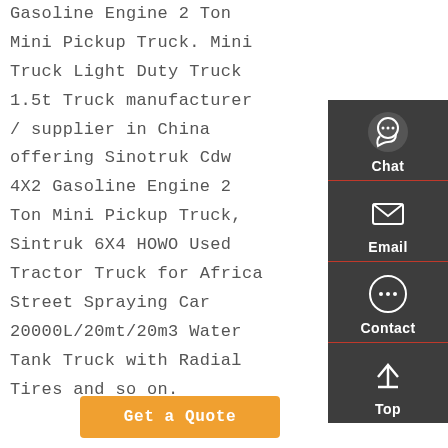Gasoline Engine 2 Ton Mini Pickup Truck. Mini Truck Light Duty Truck 1.5t Truck manufacturer / supplier in China offering Sinotruk Cdw 4X2 Gasoline Engine 2 Ton Mini Pickup Truck, Sintruk 6X4 HOWO Used Tractor Truck for Africa Street Spraying Car 20000L/20mt/20m3 Water Tank Truck with Radial Tires and so on.
[Figure (infographic): Sidebar with Chat, Email, Contact, and Top navigation icons on dark background with red dividers]
Get a Quote